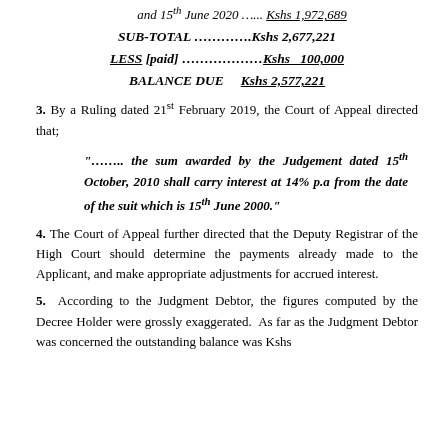and 15th June 2020 …... Kshs 1,972,689
SUB-TOTAL ………….Kshs 2,677,221
LESS [paid] ………………Kshs 100,000
BALANCE DUE   Kshs 2,577,221
3. By a Ruling dated 21st February 2019, the Court of Appeal directed that;
"…….. the sum awarded by the Judgement dated 15th October, 2010 shall carry interest at 14% p.a from the date of the suit which is 15th June 2000."
4. The Court of Appeal further directed that the Deputy Registrar of the High Court should determine the payments already made to the Applicant, and make appropriate adjustments for accrued interest.
5. According to the Judgment Debtor, the figures computed by the Decree Holder were grossly exaggerated. As far as the Judgment Debtor was concerned the outstanding balance was Kshs